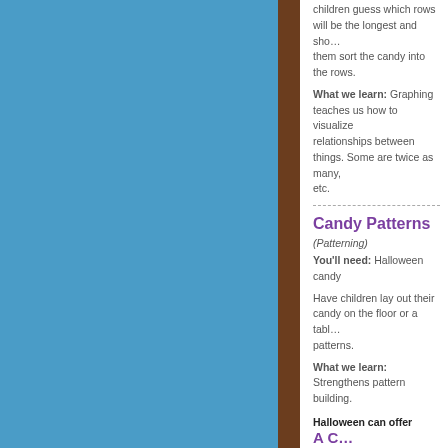children guess which rows will be the longest and shortest. Have them sort the candy into the rows.
What we learn: Graphing teaches us how to visualize relationships between things. Some are twice as many, etc.
Candy Patterns
(Patterning)
You'll need: Halloween candy
Have children lay out their candy on the floor or a table and create patterns.
What we learn: Strengthens pattern building.
Halloween can offer treats that are also food for thought. Look for extra brain stretching wherever you can.
A C...